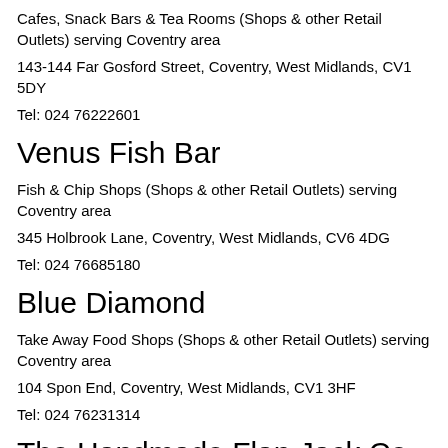Cafes, Snack Bars & Tea Rooms (Shops & other Retail Outlets) serving Coventry area
143-144 Far Gosford Street, Coventry, West Midlands, CV1 5DY
Tel: 024 76222601
Venus Fish Bar
Fish & Chip Shops (Shops & other Retail Outlets) serving Coventry area
345 Holbrook Lane, Coventry, West Midlands, CV6 4DG
Tel: 024 76685180
Blue Diamond
Take Away Food Shops (Shops & other Retail Outlets) serving Coventry area
104 Spon End, Coventry, West Midlands, CV1 3HF
Tel: 024 76231314
The Handmade Flan Jack Co